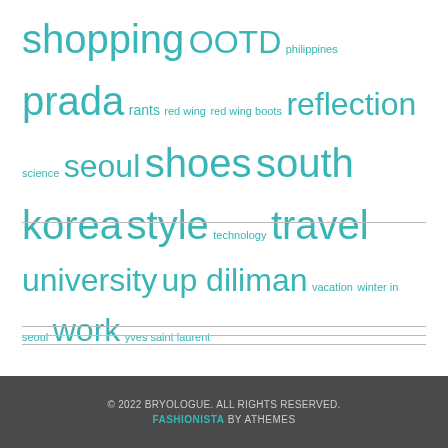shopping OOTD philippines prada rants red wing red wing boots reflection science seoul shoes south korea style technology travel university up diliman vacation winter in seoul work yves saint laurent
© 2022 BRYOLOGUE. ALL RIGHTS RESERVED. FASHIONISTA BY ATHEMES